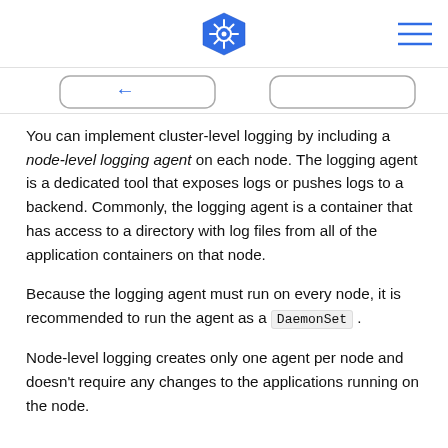Kubernetes logo and navigation
[Figure (schematic): Partial diagram showing two rounded-rectangle boxes with an arrow, representing a logging architecture diagram (cropped at top)]
You can implement cluster-level logging by including a node-level logging agent on each node. The logging agent is a dedicated tool that exposes logs or pushes logs to a backend. Commonly, the logging agent is a container that has access to a directory with log files from all of the application containers on that node.
Because the logging agent must run on every node, it is recommended to run the agent as a DaemonSet .
Node-level logging creates only one agent per node and doesn't require any changes to the applications running on the node.